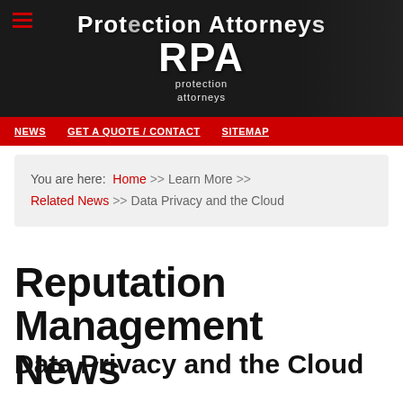Protection Attorneys RPA protection attorneys
NEWS   GET A QUOTE / CONTACT   SITEMAP
You are here: Home >> Learn More >> Related News >> Data Privacy and the Cloud
Reputation Management News
Data Privacy and the Cloud